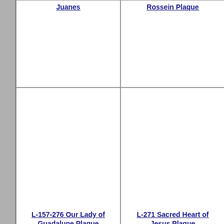Juanes
Rossein Plaque
L-157-276 Our Lady of Guadalupe Plaque
L-271 Sacred Heart of Jesus Plaque
L-242-10 Last Supper by Da
L-242-2496 Last Supper by M